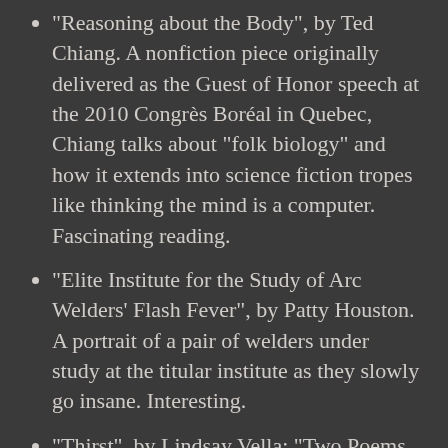"Reasoning about the Body", by Ted Chiang. A nonfiction piece originally delivered as the Guest of Honor speech at the 2010 Congrès Boréal in Quebec, Chiang talks about "folk biology" and how it extends into science fiction tropes like thinking the mind is a computer. Fascinating reading.
"Elite Institute for the Study of Arc Welders' Flash Fever", by Patty Houston. A portrait of a pair of welders under study at the titular institute as they slowly go insane. Interesting.
"Thirst", by Lindsay Vella; "Two Poems by Lindsay Vella (The Way to the Sea/Spit Out the Seeds)" (poetry). I don't know what to say about the poetry in this issue which